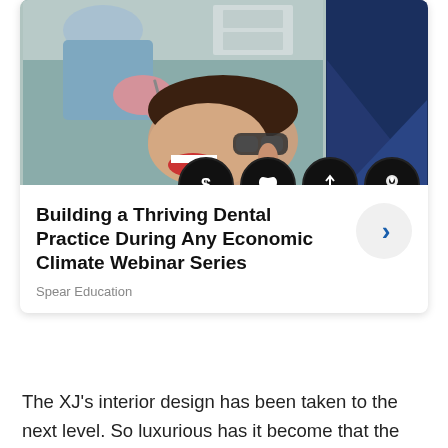[Figure (photo): A dental professional in blue scrubs and pink gloves performing a dental procedure on a patient wearing protective eyewear. The right portion shows a dark navy blue panel with geometric triangle design. Below the image are four dark circular icons representing dollar sign, dental tooth, hands holding, and dental/badge symbol.]
Building a Thriving Dental Practice During Any Economic Climate Webinar Series
Spear Education
The XJ's interior design has been taken to the next level. So luxurious has it become that the outgoing Portfolio trim is now used for the Premium Luxury model. The new Portfolio gains quilted soft-grain leather seats with diamond stitching and embossed